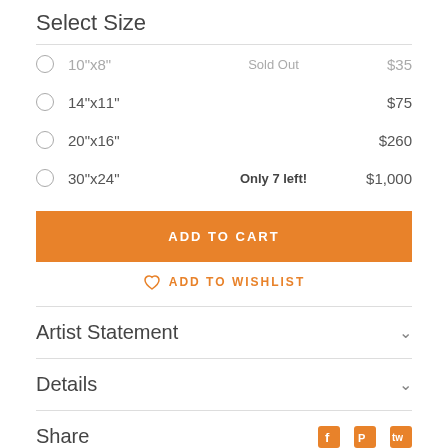Select Size
10"x8" — Sold Out — $35
14"x11" — $75
20"x16" — $260
30"x24" — Only 7 left! — $1,000
ADD TO CART
ADD TO WISHLIST
Artist Statement
Details
Share